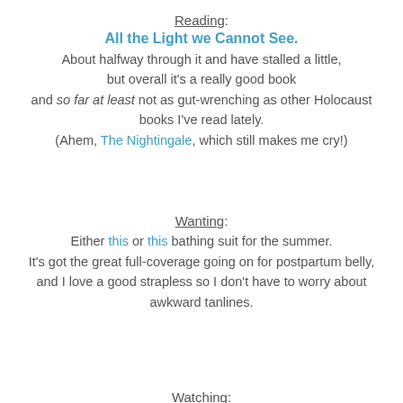Reading:
All the Light we Cannot See.
About halfway through it and have stalled a little, but overall it's a really good book and so far at least not as gut-wrenching as other Holocaust books I've read lately. (Ahem, The Nightingale, which still makes me cry!)
Wanting:
Either this or this bathing suit for the summer. It's got the great full-coverage going on for postpartum belly, and I love a good strapless so I don't have to worry about awkward tanlines.
Watching:
Netflix Documentaries. Kelsey at Pardon My French alerted me to this wondrous